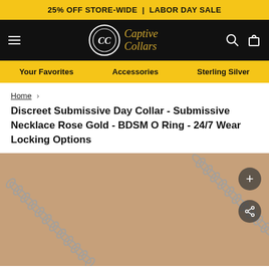25% OFF STORE-WIDE | LABOR DAY SALE
[Figure (logo): Captive Collars logo: circular CC emblem with cursive brand name in gold on black header]
Your Favorites | Accessories | Sterling Silver
Home >
Discreet Submissive Day Collar - Submissive Necklace Rose Gold - BDSM O Ring - 24/7 Wear Locking Options
[Figure (photo): Close-up product photo of a rose gold chain necklace with oval links on a tan/beige background. Two circular overlay buttons visible: a plus (+) button and a share button.]